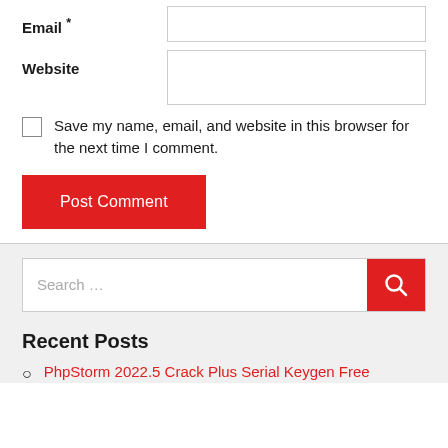Email *
Website
Save my name, email, and website in this browser for the next time I comment.
Post Comment
Search ...
Recent Posts
PhpStorm 2022.5 Crack Plus Serial Keygen Free